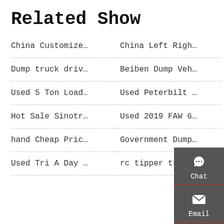Related Show
China Customize…
China Left Righ…
Dump truck driv…
Beiben Dump Veh…
Used 5 Ton Load…
Used Peterbilt …
Hot Sale Sinotr…
Used 2019 FAW 6…
hand Cheap Pric…
Government Dump…
Used Tri A Day …
rc tipper truck